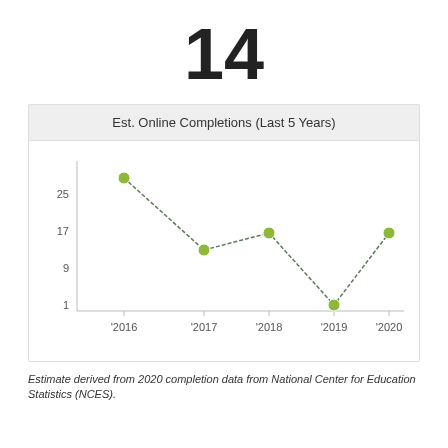14
[Figure (line-chart): Est. Online Completions (Last 5 Years)]
Estimate derived from 2020 completion data from National Center for Education Statistics (NCES).